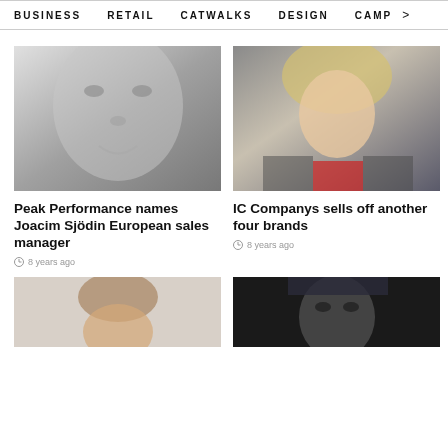BUSINESS  RETAIL  CATWALKS  DESIGN  CAMP  >
[Figure (photo): Black and white close-up portrait of a man's face]
[Figure (photo): Color portrait of a blonde woman in patterned blazer with red top]
Peak Performance names Joacim Sjödin European sales manager
8 years ago
IC Companys sells off another four brands
8 years ago
[Figure (photo): Portrait of a young woman with brown hair against light background]
[Figure (photo): Dark portrait of a young man against dark background]